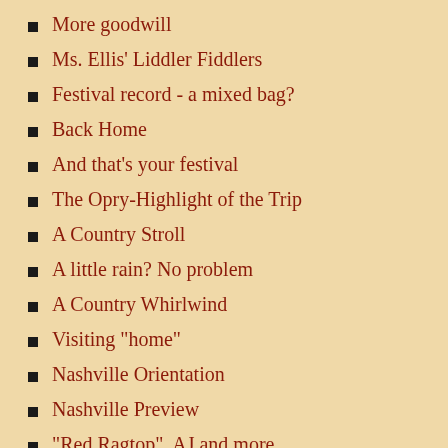More goodwill
Ms. Ellis' Liddler Fiddlers
Festival record - a mixed bag?
Back Home
And that's your festival
The Opry-Highlight of the Trip
A Country Stroll
A little rain? No problem
A Country Whirlwind
Visiting "home"
Nashville Orientation
Nashville Preview
"Red Ragtop", AJ and more
I'm Back
May 2007
Barbed Wire Halo